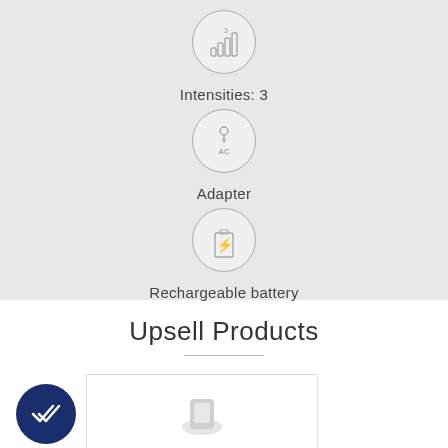[Figure (infographic): Icon of bar chart with number 3 inside a circle, representing Intensities: 3]
Intensities: 3
[Figure (infographic): Icon of AC adapter plug inside a circle, representing Adapter]
Adapter
[Figure (infographic): Icon of rechargeable battery inside a circle, representing Rechargeable battery]
Rechargeable battery
Upsell Products
[Figure (infographic): Dark navy circle with double checkmark icon (upsell badge) and a product card with a gray product thumbnail image]